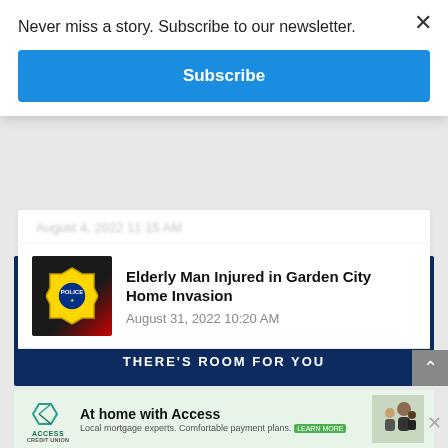Never miss a story. Subscribe to our newsletter.
Subscribe
August 4, 2022 11:15 AM
Elderly Man Injured in Garden City Home Invasion
August 31, 2022 10:20 AM
[Figure (photo): Police badge/shoulder patch, dark uniform with red stripe]
[Figure (infographic): Dark navy blue banner ad with white door icon surrounded by stars, text: THERE'S ROOM FOR YOU]
[Figure (infographic): Bottom banner ad for Access Credit Union: At home with Access, Local mortgage experts. Comfortable payment plans. LEARN MORE. Shows family photo.]